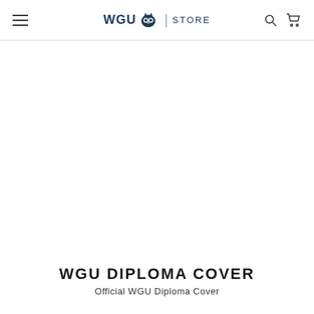WGU STORE
[Figure (other): Large white empty product image area]
WGU DIPLOMA COVER
Official WGU Diploma Cover